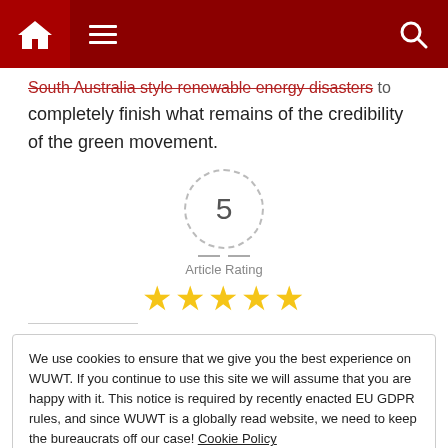Navigation bar with home, menu, and search icons
South Australia style renewable energy disasters to completely finish what remains of the credibility of the green movement.
[Figure (other): Article rating widget showing a dashed circle with the number 5, horizontal lines on each side, 'Article Rating' label, and 5 gold stars below]
We use cookies to ensure that we give you the best experience on WUWT. If you continue to use this site we will assume that you are happy with it. This notice is required by recently enacted EU GDPR rules, and since WUWT is a globally read website, we need to keep the bureaucrats off our case! Cookie Policy
Close and accept
Loading